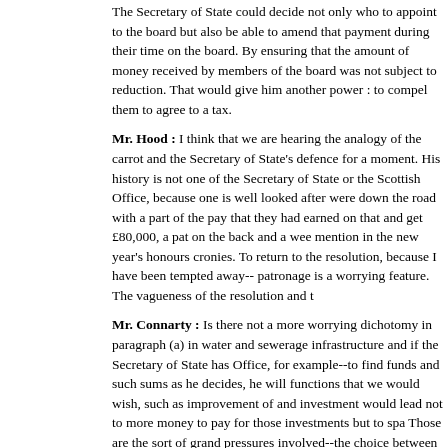The Secretary of State could decide not only who to appoint to the board but also be able to amend that payment during their time on the board. By ensuring that the amount of money received by members of the board was not subject to reduction. That would give him another power : to compel them to agree to a tax.
Mr. Hood : I think that we are hearing the analogy of the carrot and the stick. Secretary of State's defence for a moment. His history is not one of the Secretary of State or the Scottish Office, because one is well looked after were down the road with a part of the pay that they had earned on that and get £80,000, a pat on the back and a wee mention in the new year's honours cronies. To return to the resolution, because I have been tempted away-- patronage is a worrying feature. The vagueness of the resolution and t
Mr. Connarty : Is there not a more worrying dichotomy in paragraph (a) in water and sewerage infrastructure and if the Secretary of State has Office, for example--to find funds and such sums as he decides, he will functions that we would wish, such as improvement of and investment would lead not to more money to pay for those investments but to spa Those are the sort of grand pressures involved--the choice between in
Column 673
and paying back money on investments and giving back free money to Treasury.
Mr. Hood : My hon. Friend makes a valid point. May I refer to the earlier in the Scottish Office think that they will understate the cost of the reform less hidden tax on the water consumer.
I am trying to come to the close of my remarks--[ Hon. Members :-- "O